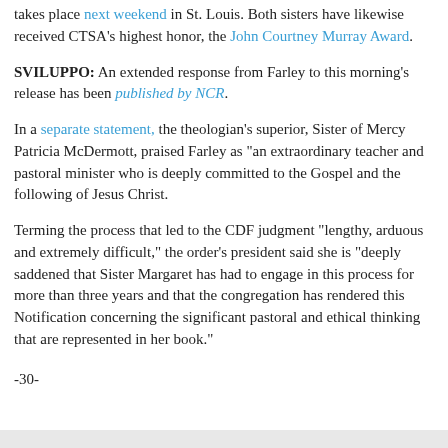takes place next weekend in St. Louis. Both sisters have likewise received CTSA's highest honor, the John Courtney Murray Award.
SVILUPPO: An extended response from Farley to this morning's release has been published by NCR.
In a separate statement, the theologian's superior, Sister of Mercy Patricia McDermott, praised Farley as "an extraordinary teacher and pastoral minister who is deeply committed to the Gospel and the following of Jesus Christ.
Terming the process that led to the CDF judgment "lengthy, arduous and extremely difficult," the order's president said she is "deeply saddened that Sister Margaret has had to engage in this process for more than three years and that the congregation has rendered this Notification concerning the significant pastoral and ethical thinking that are represented in her book."
-30-